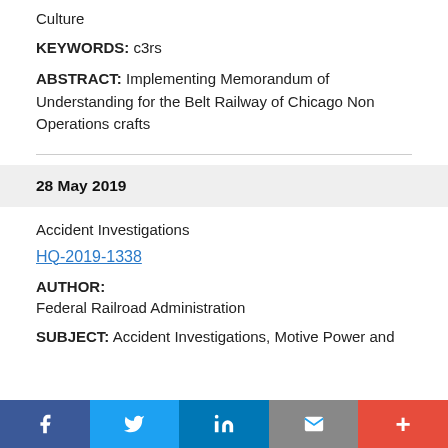Culture
KEYWORDS: c3rs
ABSTRACT: Implementing Memorandum of Understanding for the Belt Railway of Chicago Non Operations crafts
28 May 2019
Accident Investigations
HQ-2019-1338
AUTHOR:
Federal Railroad Administration
SUBJECT: Accident Investigations, Motive Power and